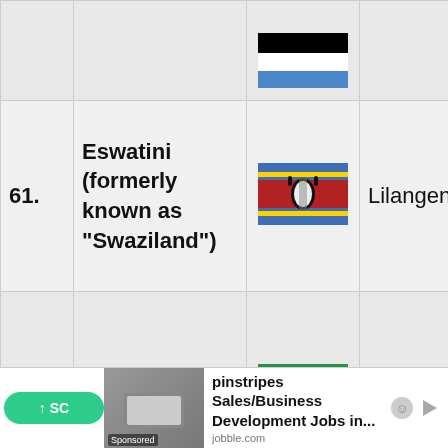| # | Country | Flag | Currency | Value |
| --- | --- | --- | --- | --- |
|  |  | (flag - partial) |  |  |
| 61. | Eswatini (formerly known as "Swaziland") | (Eswatini flag) | Lilangeni | 17. |
| 62. | Ethiopia | (Ethiopia flag) | Birr | 1,1 |
| 63. | Fiji | (Fiji flag) | Fiji dollar | 18. |
pinstripes Sales/Business Development Jobs in... jobble.com (Sponsored ad bar)